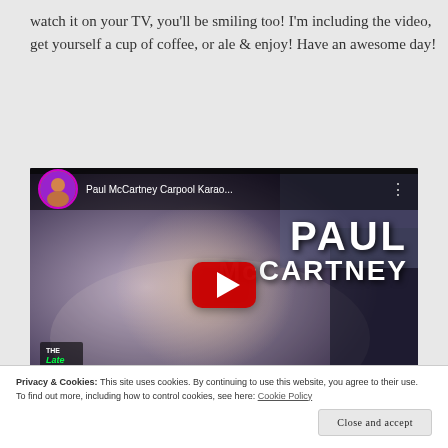watch it on your TV, you'll be smiling too! I'm including the video, get yourself a cup of coffee, or ale & enjoy! Have an awesome day!
[Figure (screenshot): YouTube video thumbnail for 'Paul McCartney Carpool Karao...' from The Late Late Show with James Corden, showing Paul McCartney laughing in a car with large white text reading PAUL McCARTNEY and a red YouTube play button in the center.]
Privacy & Cookies: This site uses cookies. By continuing to use this website, you agree to their use.
To find out more, including how to control cookies, see here: Cookie Policy
Close and accept